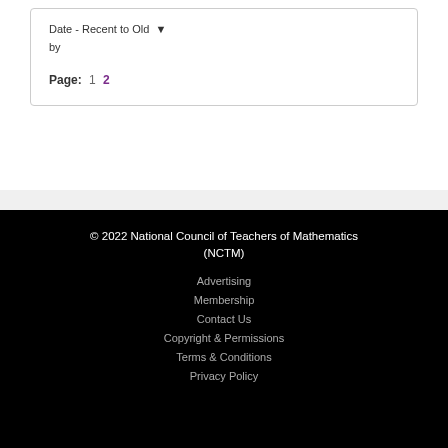Date - Recent to Old  by
Page: 1 2
© 2022 National Council of Teachers of Mathematics (NCTM)
Advertising
Membership
Contact Us
Copyright & Permissions
Terms & Conditions
Privacy Policy